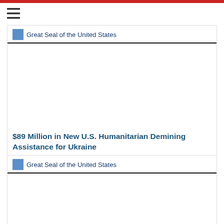[Figure (other): Red bar at top of page, navigation header]
[Figure (other): Hamburger menu icon (three horizontal lines)]
[Figure (other): Great Seal of the United States image placeholder with alt text and underline border]
[Figure (photo): Large image area (content not visible)]
$89 Million in New U.S. Humanitarian Demining Assistance for Ukraine
[Figure (other): Great Seal of the United States image placeholder with alt text and underline border (second card)]
[Figure (photo): Image area of second card (content not visible)]